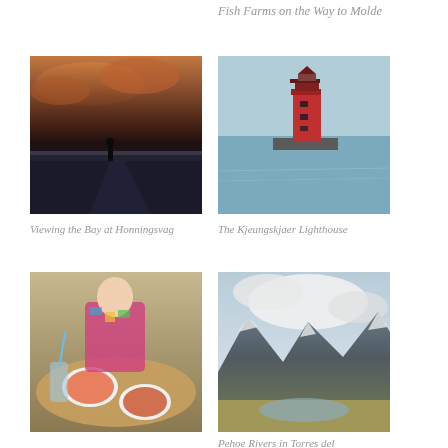Fish Farms on the Way to Molde
[Figure (photo): Person silhouetted against dramatic sunset sky over a bay, Honningsvag]
Viewing the Bay at Honningsvag
[Figure (photo): Red Kjeungskjaer Lighthouse standing in the sea on a clear day]
The Kjeungskjaer Lighthouse
[Figure (photo): Woman dining outdoors at a table with seafood dishes and drinks]
[Figure (photo): Dramatic mountain landscape of Torres del Paine with lake and clouds]
Pehoe Rivers in Torres del